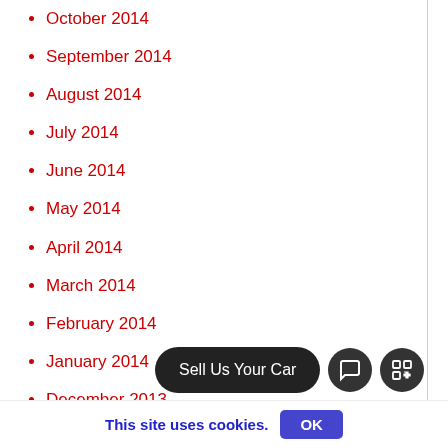October 2014
September 2014
August 2014
July 2014
June 2014
May 2014
April 2014
March 2014
February 2014
January 2014
December 2013
November 2013
This site uses cookies.
OK